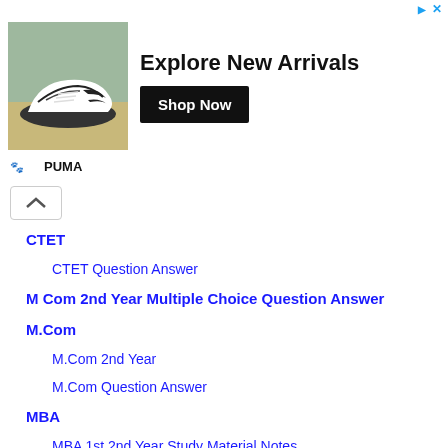[Figure (other): PUMA advertisement banner showing sneakers, headline 'Explore New Arrivals', 'Shop Now' button, and Puma logo]
CTET
CTET Question Answer
M Com 2nd Year Multiple Choice Question Answer
M.Com
M.Com 2nd Year
M.Com Question Answer
MBA
MBA 1st 2nd Year Study Material Notes
MBA 1st Year Business Statistics
MBA 1st year Model Paper